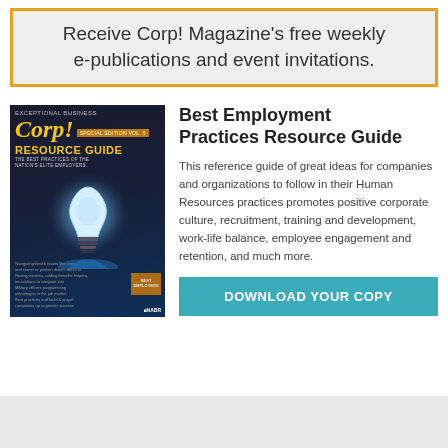Receive Corp! Magazine's free weekly e-publications and event invitations.
[Figure (illustration): Corp! Magazine Resource Guide cover featuring a glowing light bulb on dark background with yellow Corp! logo and 'RESOURCE GUIDE' text]
Best Employment Practices Resource Guide
This reference guide of great ideas for companies and organizations to follow in their Human Resources practices promotes positive corporate culture, recruitment, training and development, work-life balance, employee engagement and retention, and much more.
DOWNLOAD YOUR COPY